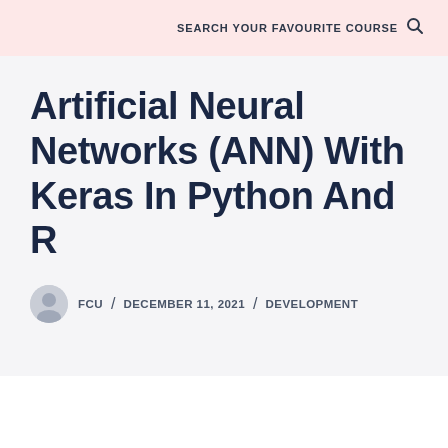SEARCH YOUR FAVOURITE COURSE
Artificial Neural Networks (ANN) With Keras In Python And R
FCU / DECEMBER 11, 2021 / DEVELOPMENT